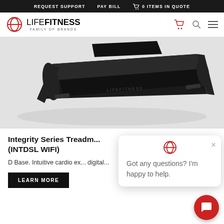REQUEST SUPPORT   PAY BILL   0 ITEMS IN QUOTE
[Figure (logo): Life Fitness Family of Brands logo with red ellipse icon]
[Figure (photo): Life Fitness Integrity Series Treadmill product photo on grey background, black treadmill viewed from above at angle]
Integrity Series Treadmill (INTDSL WIFI)
D Base. Intuitive cardio ex... digital...
[Figure (other): Chat popup with Life Fitness logo icon and text: Got any questions? I'm happy to help.]
LEARN MORE